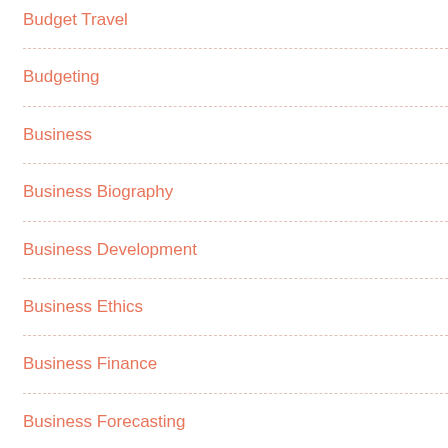Budget Travel
Budgeting
Business
Business Biography
Business Development
Business Ethics
Business Finance
Business Forecasting
Business Insurance
Business Law